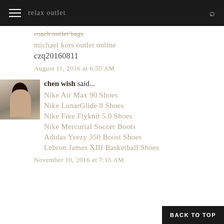coach outlet bag (strikethrough)
michael kors outlet online
czq20160811
August 11, 2016 at 6:55 AM
chen wish said...
Nike Air Max 90 Shoes
Nike LunarGlide 8 Shoes
Nike Free Flyknit 5.0 Shoes
Nike Mercurial Soccer Boots
Adidas Yeezy 350 Boost Shoes
Lebron James XIII Basketball Shoes
November 10, 2016 at 7:15 AM